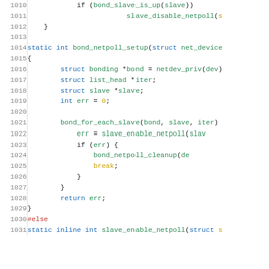[Figure (screenshot): Source code listing in C, lines 1010-1031, showing bond_netpoll_setup function implementation with syntax highlighting. Line numbers in gray on left, keywords in blue, variables in green, control flow in gold, preprocessor in red.]